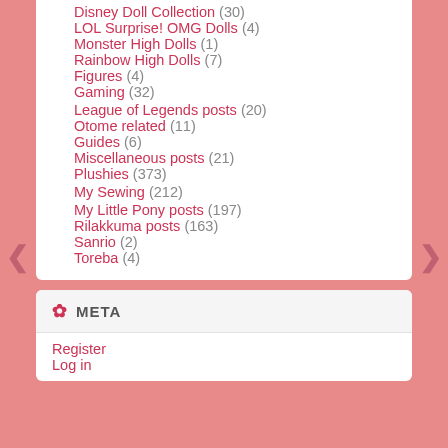Disney Doll Collection (30)
LOL Surprise! OMG Dolls (4)
Monster High Dolls (1)
Rainbow High Dolls (7)
Figures (4)
Gaming (32)
League of Legends posts (20)
Otome related (11)
Guides (6)
Miscellaneous posts (21)
Plushies (373)
My Sewing (212)
My Little Pony posts (197)
Rilakkuma posts (163)
Sanrio (2)
Toreba (4)
META
Register
Log in